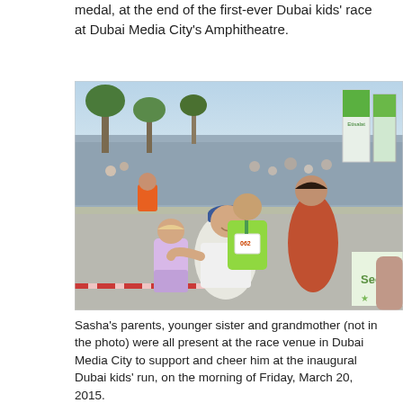medal, at the end of the first-ever Dubai kids' race at Dubai Media City's Amphitheatre.
[Figure (photo): A family photo at a running race event. A man in a white shirt and blue cap crouches down with two children and a woman. The child in the center wears a green shirt with race number 062 and a medal around their neck. Banners and crowds are visible in the background at what appears to be the Dubai kids' race at Dubai Media City.]
Sasha's parents, younger sister and grandmother (not in the photo) were all present at the race venue in Dubai Media City to support and cheer him at the inaugural Dubai kids' run, on the morning of Friday, March 20, 2015.